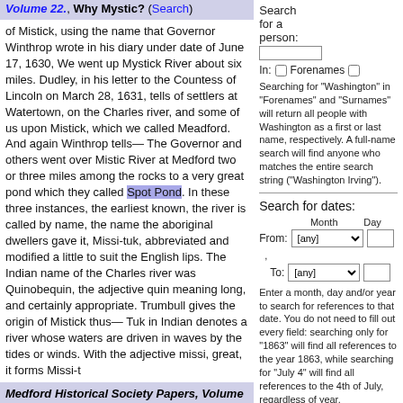Volume 22., Why Mystic? (Search)
of Mistick, using the name that Governor Winthrop wrote in his diary under date of June 17, 1630, We went up Mystick River about six miles. Dudley, in his letter to the Countess of Lincoln on March 28, 1631, tells of settlers at Watertown, on the Charles river, and some of us upon Mistick, which we called Meadford. And again Winthrop tells— The Governor and others went over Mistic River at Medford two or three miles among the rocks to a very great pond which they called Spot Pond. In these three instances, the earliest known, the river is called by name, the name the aboriginal dwellers gave it, Missi-tuk, abbreviated and modified a little to suit the English lips. The Indian name of the Charles river was Quinobequin, the adjective quin meaning long, and certainly appropriate. Trumbull gives the origin of Mistick thus— Tuk in Indian denotes a river whose waters are driven in waves by the tides or winds. With the adjective missi, great, it forms Missi-t
Medford Historical Society Papers, Volume 22., A Rill of water-troughs. (search)
Search for a person:
In: Forenames
Searching for "Washington" in "Forenames" and "Surnames" will return all people with Washington as a first or last name, respectively. A full-name search will find anyone who matches the entire search string ("Washington Irving").
Search for dates:
From: [any] Month Day
To: [any]
Enter a month, day and/or year to search for references to that date. You do not need to fill out every field: searching only for "1863" will find all references to the year 1863, while searching for "July 4" will find all references to the 4th of July, regardless of year.
Enter a starting date and an ending date to find all occurrences of dates in between.